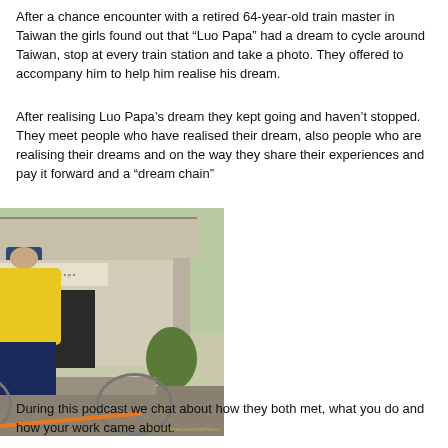After a chance encounter with a retired 64-year-old train master in Taiwan the girls found out that “Luo Papa” had a dream to cycle around Taiwan, stop at every train station and take a photo. They offered to accompany him to help him realise his dream.
After realising Luo Papa’s dream they kept going and haven’t stopped. They meet people who have realised their dream, also people who are realising their dreams and on the way they share their experiences and pay it forward and a “dream chain”
[Figure (photo): An elderly man in a yellow long-sleeve shirt and navy cap stands smiling in front of the Xinpu train station building in Taiwan, holding an orange bicycle. The station has a traditional architectural style with pillars and a sign reading 新埔 Xinpu. Green foliage is visible on the left side.]
During this podcast we chat about how they both met, what you do and how your work came about.